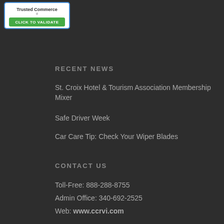[Figure (logo): Trusted Commerce - Click to Validate badge with blue border and green button]
RECENT NEWS
St. Croix Hotel & Tourism Association Membership Mixer
Safe Driver Week
Car Care Tip: Check Your Wiper Blades
CONTACT US
Toll-Free: 888-288-8755
Admin Office: 340-692-2525
Web: www.ccrvi.com
[Figure (illustration): Social media icons: Facebook, Twitter, Instagram - gray circular buttons]